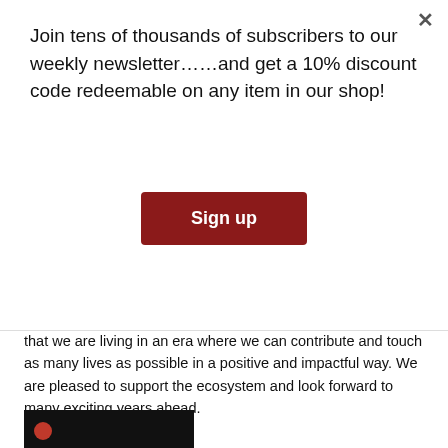Join tens of thousands of subscribers to our weekly newsletter……and get a 10% discount code redeemable on any item in our shop!
Sign up
that we are living in an era where we can contribute and touch as many lives as possible in a positive and impactful way. We are pleased to support the ecosystem and look forward to many exciting years ahead.
Trending videos
Cookie Warning
This website stores data such as cookies to enable site functionality including analytics and personalization. By using this website, you automatically accept that we use cookies.
Learn more
Accept